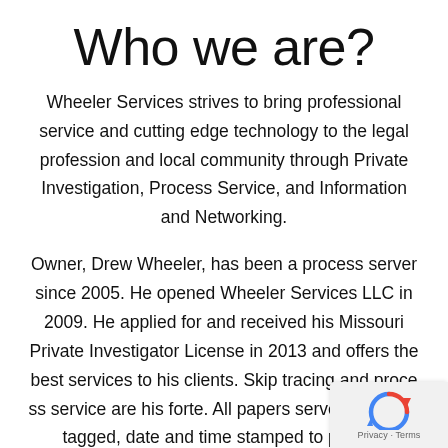Who we are?
Wheeler Services strives to bring professional service and cutting edge technology to the legal profession and local community through Private Investigation, Process Service, and Information and Networking.
Owner, Drew Wheeler, has been a process server since 2005. He opened Wheeler Services LLC in 2009. He applied for and received his Missouri Private Investigator License in 2013 and offers the best services to his clients. Skip tracing and process service are his forte. All papers served are GPS tagged, date and time stamped to provide...